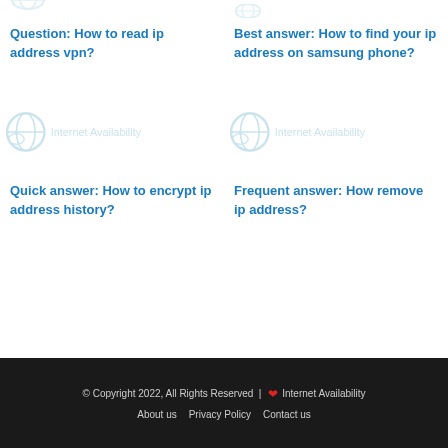[Figure (logo): Internet Availability logo placeholder, top-left, faded]
[Figure (logo): Internet Availability logo placeholder, top-right, faded]
Question: How to read ip address vpn?
Best answer: How to find your ip address on samsung phone?
[Figure (logo): Internet Availability logo, mid-left]
[Figure (logo): Internet Availability logo, mid-right]
Quick answer: How to encrypt ip address history?
Frequent answer: How remove ip address?
© Copyright 2022, All Rights Reserved | ❤ Internet Availability  About us   Privacy Policy   Contact us